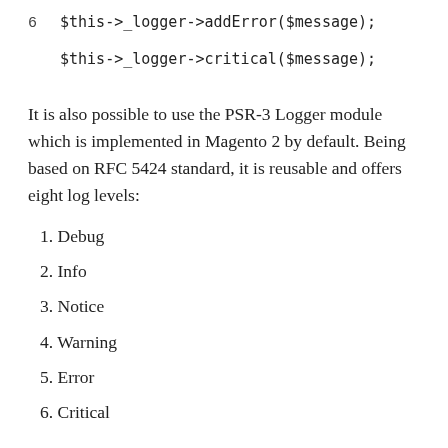6   $this->_logger->addError($message);
$this->_logger->critical($message);
It is also possible to use the PSR-3 Logger module which is implemented in Magento 2 by default. Being based on RFC 5424 standard, it is reusable and offers eight log levels:
1. Debug
2. Info
3. Notice
4. Warning
5. Error
6. Critical